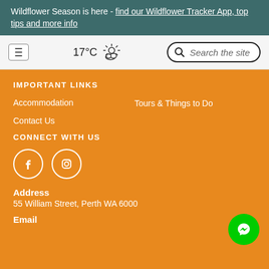Wildflower Season is here - find our Wildflower Tracker App, top tips and more info
[Figure (screenshot): Navigation bar with hamburger menu, 17°C weather icon with sun/cloud, and Search the site search box]
IMPORTANT LINKS
Accommodation
Tours & Things to Do
Contact Us
CONNECT WITH US
[Figure (illustration): Facebook and Instagram social media icons (white circles with logos)]
Address
55 William Street, Perth WA 6000
Email
[Figure (other): Green Facebook Messenger button in bottom right corner]